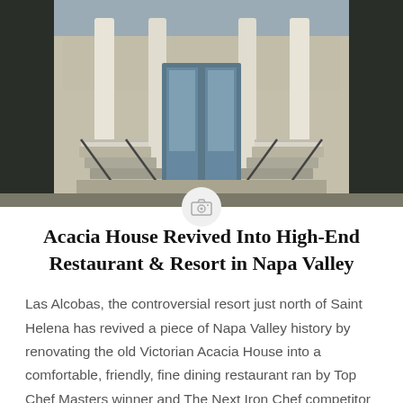[Figure (photo): Exterior facade of the Victorian Acacia House building with white columns, double staircases with metal railings, and glass-paned front door. The image shows the front porch area with classical architectural details against a light-colored shingled exterior.]
Acacia House Revived Into High-End Restaurant & Resort in Napa Valley
Las Alcobas, the controversial resort just north of Saint Helena has revived a piece of Napa Valley history by renovating the old Victorian Acacia House into a comfortable, friendly, fine dining restaurant ran by Top Chef Masters winner and The Next Iron Chef competitor Chris Cosentino. I have only lived in Saint Helena for four years, and...